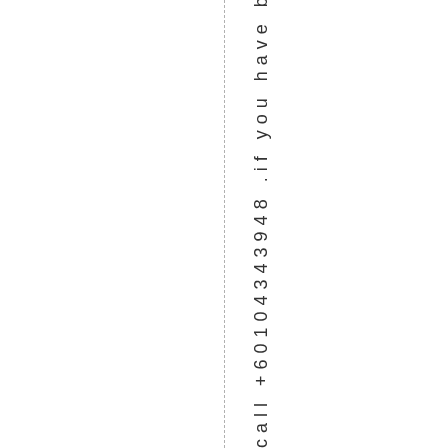call +60104343948 .if you have been